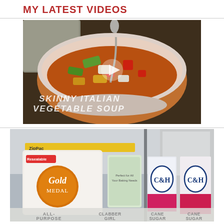MY LATEST VIDEOS
[Figure (photo): Video thumbnail showing a bowl of vegetable soup with a spoon, overlaid with the text 'SKINNY ITALIAN VEGETABLE SOUP' and a play button in the center.]
[Figure (photo): Video thumbnail showing baking ingredients on a counter including Gold Medal flour bag, C&H cane sugar boxes, with text labels 'ALL PURPOSE', 'CLABBER GIRL', 'CANE SUGAR', 'CANE SUGAR' at the bottom.]